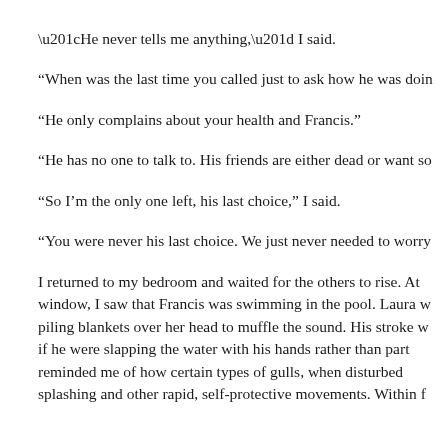“He never tells me anything,” I said.
“When was the last time you called just to ask how he was doin
“He only complains about your health and Francis.”
“He has no one to talk to. His friends are either dead or want so
“So I’m the only one left, his last choice,” I said.
“You were never his last choice. We just never needed to worry
I returned to my bedroom and waited for the others to rise. At window, I saw that Francis was swimming in the pool. Laura w piling blankets over her head to muffle the sound. His stroke w if he were slapping the water with his hands rather than part reminded me of how certain types of gulls, when disturbed splashing and other rapid, self-protective movements. Within f